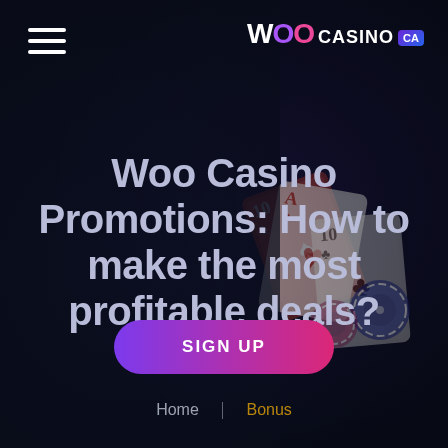[Figure (screenshot): Dark navy background with playing cards (10s, Ace) and casino chips visible in the right portion of the image, creating a casino atmosphere]
Woo Casino
Woo Casino Promotions: How to make the most profitable deals?
SIGN UP
Home | Bonus